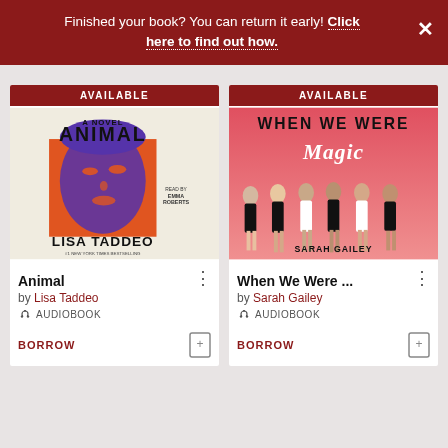Finished your book? You can return it early! Click here to find out how.
[Figure (illustration): Book cover for 'Animal' by Lisa Taddeo - a novel with bold black text 'ANIMAL' and 'LISA TADDEO', orange and purple illustrated face of a woman, beige background, read by Emma Roberts]
[Figure (illustration): Book cover for 'When We Were Magic' by Sarah Gailey - pink/coral background with six illustrated young women in black and white outfits, bold text title]
Animal
by Lisa Taddeo
AUDIOBOOK
BORROW
When We Were ...
by Sarah Gailey
AUDIOBOOK
BORROW